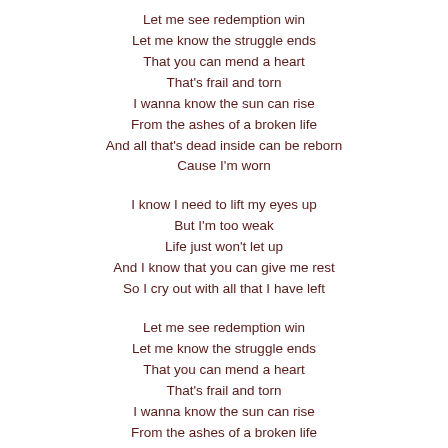Let me see redemption win
Let me know the struggle ends
That you can mend a heart
That's frail and torn
I wanna know the sun can rise
From the ashes of a broken life
And all that's dead inside can be reborn
Cause I'm worn
I know I need to lift my eyes up
But I'm too weak
Life just won't let up
And I know that you can give me rest
So I cry out with all that I have left
Let me see redemption win
Let me know the struggle ends
That you can mend a heart
That's frail and torn
I wanna know the sun can rise
From the ashes of a broken life
And all that's dead inside can be reborn
Cause I'm worn
My prayers are wearing thin
And I'm worn